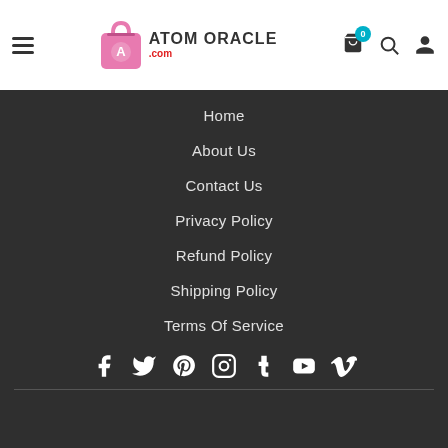[Figure (logo): Atom Oracle logo with shopping bag icon and text]
Home
About Us
Contact Us
Privacy Policy
Refund Policy
Shipping Policy
Terms Of Service
[Figure (infographic): Social media icons row: Facebook, Twitter, Pinterest, Instagram, Tumblr, YouTube, Vimeo]